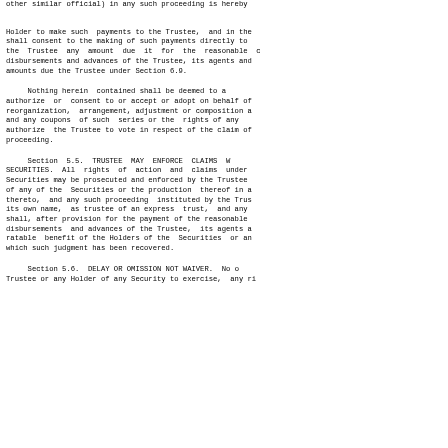other similar official) in any such proceeding is hereby
Holder to make such payments to the Trustee, and in the shall consent to the making of such payments directly to the Trustee any amount due it for the reasonable disbursements and advances of the Trustee, its agents and amounts due the Trustee under Section 6.9.
Nothing herein contained shall be deemed to authorize or consent to or accept or adopt on behalf of reorganization, arrangement, adjustment or composition and any coupons of such series or the rights of any authorize the Trustee to vote in respect of the claim of proceeding.
Section 5.5. TRUSTEE MAY ENFORCE CLAIMS WITHOUT SECURITIES. All rights of action and claims under Securities may be prosecuted and enforced by the Trustee of any of the Securities or the production thereof in thereto, and any such proceeding instituted by the Trustee its own name, as trustee of an express trust, and any shall, after provision for the payment of the reasonable disbursements and advances of the Trustee, its agents and ratable benefit of the Holders of the Securities or which such judgment has been recovered.
Section 5.6. DELAY OR OMISSION NOT WAIVER. No Trustee or any Holder of any Security to exercise, any r